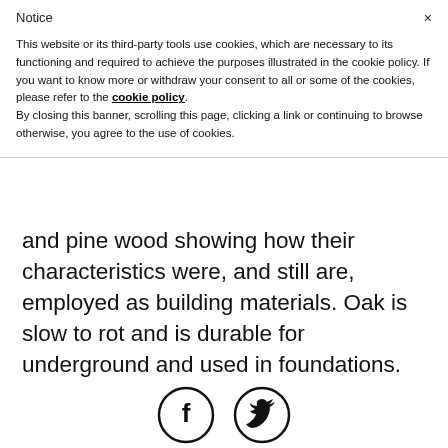Notice
This website or its third-party tools use cookies, which are necessary to its functioning and required to achieve the purposes illustrated in the cookie policy. If you want to know more or withdraw your consent to all or some of the cookies, please refer to the cookie policy.
By closing this banner, scrolling this page, clicking a link or continuing to browse otherwise, you agree to the use of cookies.
and pine wood showing how their characteristics were, and still are, employed as building materials. Oak is slow to rot and is durable for underground and used in foundations. Cedar also is slow to decay and used more widely as a building material,
[Figure (other): Social media icons: Facebook and Twitter circular icons]